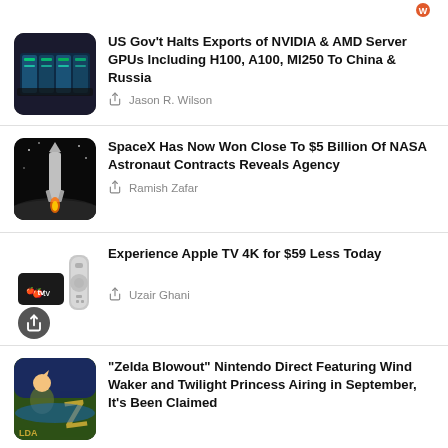US Gov't Halts Exports of NVIDIA & AMD Server GPUs Including H100, A100, MI250 To China & Russia — Jason R. Wilson
SpaceX Has Now Won Close To $5 Billion Of NASA Astronaut Contracts Reveals Agency — Ramish Zafar
Experience Apple TV 4K for $59 Less Today — Uzair Ghani
“Zelda Blowout” Nintendo Direct Featuring Wind Waker and Twilight Princess Airing in September, It’s Been Claimed